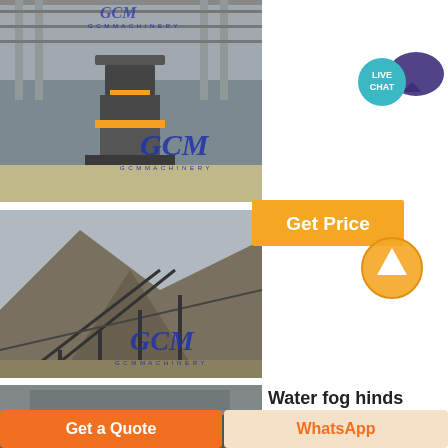[Figure (photo): GCM Machinery cone crusher in industrial factory setting with warehouse structure visible, GCM logo and GCM MACHINERY text watermark]
[Figure (photo): GCM Machinery conveyor belt system on rocky mountain terrain, GCM logo and GCM MACHINERY text watermark]
[Figure (other): LIVE CHAT button with speech bubble icon in teal/purple colors]
[Figure (other): Get Price orange button with orange circle arrow icon]
[Figure (photo): Partial photo of machinery equipment at bottom left]
Water fog hinds
Get a Quote
WhatsApp